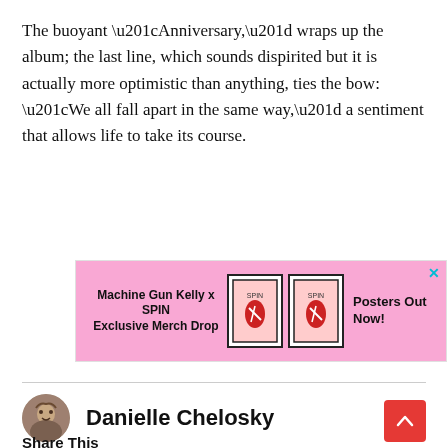The buoyant “Anniversary,” wraps up the album; the last line, which sounds dispirited but it is actually more optimistic than anything, ties the bow: “We all fall apart in the same way,” a sentiment that allows life to take its course.
[Figure (infographic): Advertisement banner with pink background for Machine Gun Kelly x SPIN Exclusive Merch Drop, featuring two poster images and text 'Posters Out Now!']
Danielle Chelosky
Share This